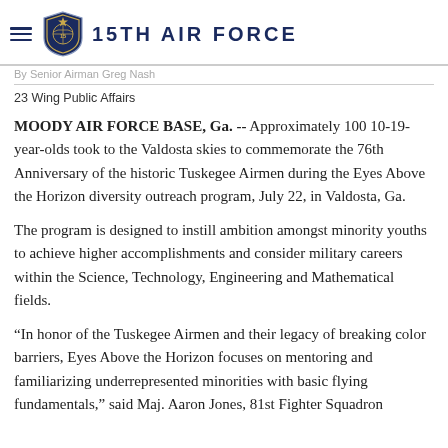15TH AIR FORCE
By Senior Airman Greg Nash
23 Wing Public Affairs
MOODY AIR FORCE BASE, Ga. -- Approximately 100 10-19-year-olds took to the Valdosta skies to commemorate the 76th Anniversary of the historic Tuskegee Airmen during the Eyes Above the Horizon diversity outreach program, July 22, in Valdosta, Ga.
The program is designed to instill ambition amongst minority youths to achieve higher accomplishments and consider military careers within the Science, Technology, Engineering and Mathematical fields.
“In honor of the Tuskegee Airmen and their legacy of breaking color barriers, Eyes Above the Horizon focuses on mentoring and familiarizing underrepresented minorities with basic flying fundamentals,” said Maj. Aaron Jones, 81st Fighter Squadron